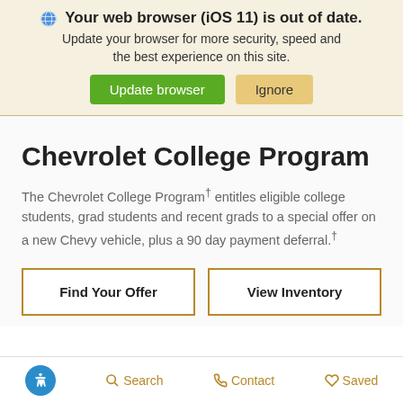Your web browser (iOS 11) is out of date. Update your browser for more security, speed and the best experience on this site.
Update browser | Ignore
Chevrolet College Program
The Chevrolet College Program† entitles eligible college students, grad students and recent grads to a special offer on a new Chevy vehicle, plus a 90 day payment deferral.†
Find Your Offer | View Inventory
Accessibility  Search  Contact  Saved